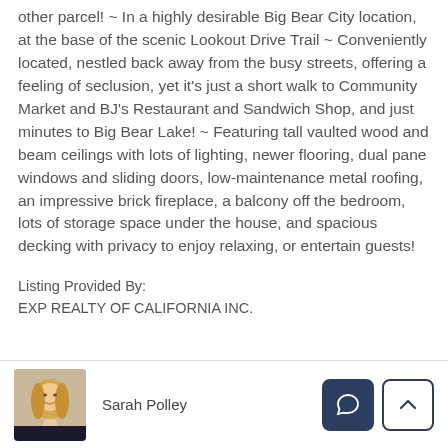other parcel! ~ In a highly desirable Big Bear City location, at the base of the scenic Lookout Drive Trail ~ Conveniently located, nestled back away from the busy streets, offering a feeling of seclusion, yet it's just a short walk to Community Market and BJ's Restaurant and Sandwich Shop, and just minutes to Big Bear Lake! ~ Featuring tall vaulted wood and beam ceilings with lots of lighting, newer flooring, dual pane windows and sliding doors, low-maintenance metal roofing, an impressive brick fireplace, a balcony off the bedroom, lots of storage space under the house, and spacious decking with privacy to enjoy relaxing, or entertain guests!
Listing Provided By:
EXP REALTY OF CALIFORNIA INC.
[Figure (photo): Headshot photo of real estate agent Sarah Polley, blonde woman]
Sarah Polley